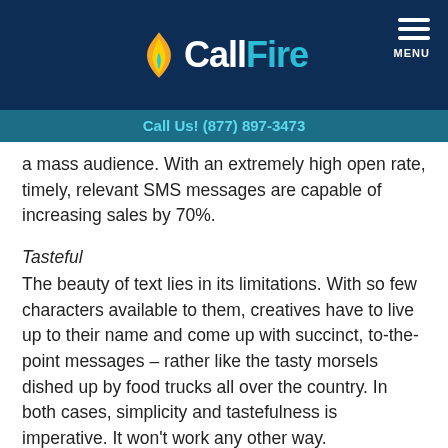CallFire — Call Us! (877) 897-3473
a mass audience. With an extremely high open rate, timely, relevant SMS messages are capable of increasing sales by 70%.
Tasteful
The beauty of text lies in its limitations. With so few characters available to them, creatives have to live up to their name and come up with succinct, to-the-point messages – rather like the tasty morsels dished up by food trucks all over the country. In both cases, simplicity and tastefulness is imperative. It won't work any other way.
With 82% of Americans now owning a cell phone, and the average user sending and receiving 55 texts within a 48-hour period, text messaging is the go-to option for marketing your food truck business to the biggest audience...